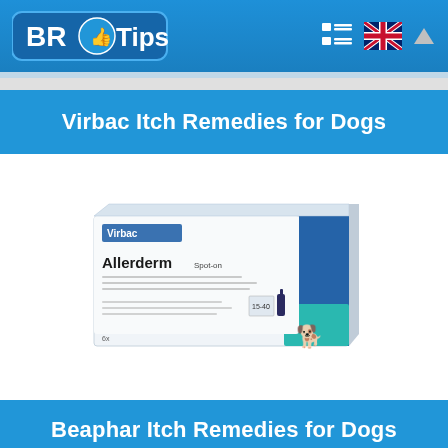BR Tips - navigation header with logo and menu icons
Virbac Itch Remedies for Dogs
[Figure (photo): Virbac Allerderm product box - a rectangular pharmaceutical package with white and blue colors, labeled Allerderm, showing a dog silhouette icon]
Beaphar Itch Remedies for Dogs